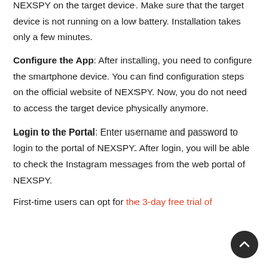NEXSPY on the target device. Make sure that the target device is not running on a low battery. Installation takes only a few minutes.
Configure the App: After installing, you need to configure the smartphone device. You can find configuration steps on the official website of NEXSPY. Now, you do not need to access the target device physically anymore.
Login to the Portal: Enter username and password to login to the portal of NEXSPY. After login, you will be able to check the Instagram messages from the web portal of NEXSPY.
First-time users can opt for the 3-day free trial of